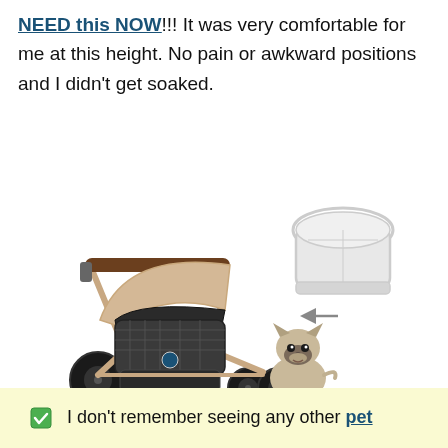NEED this NOW!!! It was very comfortable for me at this height. No pain or awkward positions and I didn't get soaked.
[Figure (photo): A pet stroller with beige canopy and black mesh body on gold/rose-gold frame with large wheels, next to a sitting French Bulldog. An inset shows a separate detachable carrier pod in light gray.]
✅ I don't remember seeing any other pet